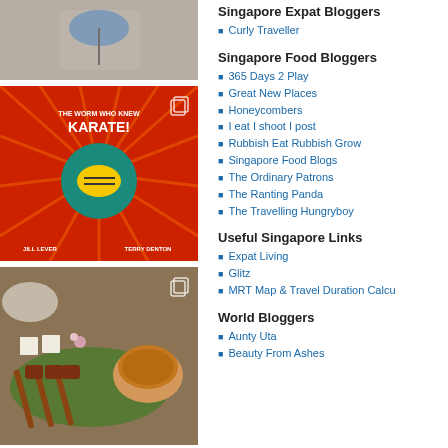[Figure (photo): Top photo showing a book cover or product with dark/colorful packaging, partially visible]
[Figure (photo): Book cover: 'The Worm Who Knew Karate!' by Jill Lever and Terry Denton, red background with cartoon bee doing karate]
[Figure (photo): Food photo: satay skewers with peanut sauce dip and rice cubes on banana leaf]
Singapore Expat Bloggers
Curly Traveller
Singapore Food Bloggers
365 Days 2 Play
Great New Places
Honeycombers
I eat I shoot I post
Rubbish Eat Rubbish Grow
Singapore Food Blogs
The Ordinary Patrons
The Ranting Panda
The Travelling Hungryboy
Useful Singapore Links
Expat Living
Glitz
MRT Map & Travel Duration Calcu...
World Bloggers
Aunty Uta
Beauty From Ashes